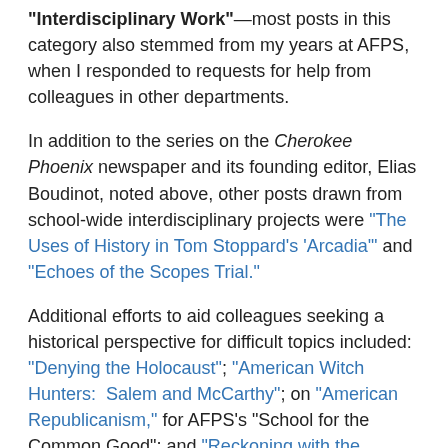"Interdisciplinary Work"—most posts in this category also stemmed from my years at AFPS, when I responded to requests for help from colleagues in other departments.
In addition to the series on the Cherokee Phoenix newspaper and its founding editor, Elias Boudinot, noted above, other posts drawn from school-wide interdisciplinary projects were "The Uses of History in Tom Stoppard's 'Arcadia'" and "Echoes of the Scopes Trial."
Additional efforts to aid colleagues seeking a historical perspective for difficult topics included: "Denying the Holocaust"; "American Witch Hunters: Salem and McCarthy"; on "American Republicanism," for AFPS's "School for the Common Good"; and "Reckoning with the 'Dispossessed Majority'," for my older son's summer